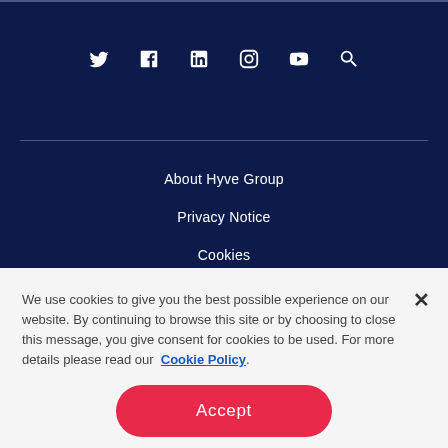[Figure (other): Social media icons row: Twitter, Facebook, LinkedIn, Instagram, YouTube, Search — white icons on dark navy background]
About Hyve Group
Privacy Notice
Cookies
Terms of Use
We use cookies to give you the best possible experience on our website. By continuing to browse this site or by choosing to close this message, you give consent for cookies to be used. For more details please read our Cookie Policy.
Accept